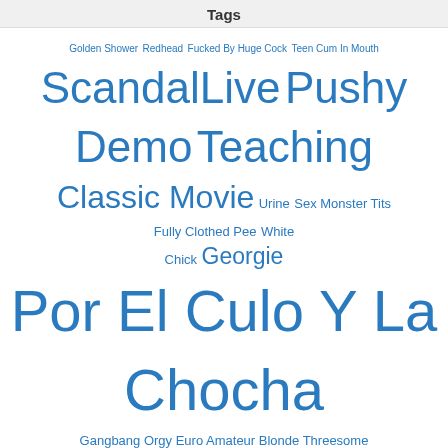Tags
[Figure (infographic): Tag cloud with various tags in different sizes and blue color, representing frequency/popularity of tags on a website.]